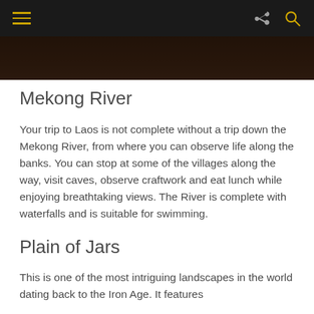[Figure (photo): Dark navigation bar with hamburger menu icon in gold/yellow on the left, and share and search icons on the right against black background]
[Figure (photo): Hero image showing a dark brownish scene, partially cropped at top of content area]
Mekong River
Your trip to Laos is not complete without a trip down the Mekong River, from where you can observe life along the banks. You can stop at some of the villages along the way, visit caves, observe craftwork and eat lunch while enjoying breathtaking views. The River is complete with waterfalls and is suitable for swimming.
Plain of Jars
This is one of the most intriguing landscapes in the world dating back to the Iron Age. It features